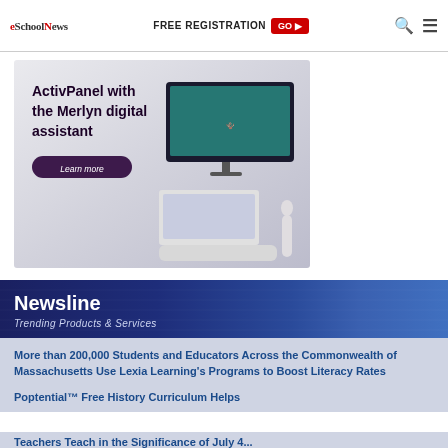eSchool News — FREE REGISTRATION GO ▶
[Figure (infographic): Advertisement for ActivPanel with the Merlyn digital assistant. Shows text 'ActivPanel with the Merlyn digital assistant' and a 'Learn more' button on the left, with a TV screen and laptop with a digital assistant device on the right. Gray/purple gradient background.]
[Figure (infographic): Newsline banner with dark blue gradient background. Title: 'Newsline', Subtitle: 'Trending Products & Services']
More than 200,000 Students and Educators Across the Commonwealth of Massachusetts Use Lexia Learning's Programs to Boost Literacy Rates
Poptential™ Free History Curriculum Helps Teachers Teach in the Significance of July 4...